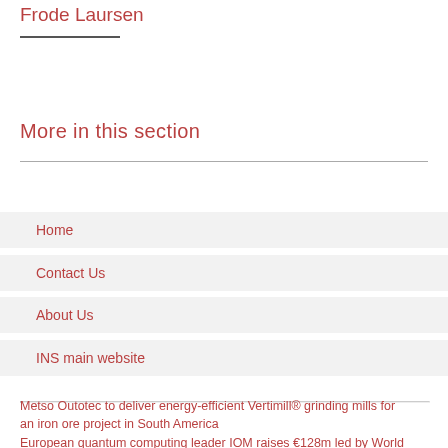Frode Laursen
More in this section
Home
Contact Us
About Us
INS main website
Metso Outotec to deliver energy-efficient Vertimill® grinding mills for an iron ore project in South America
European quantum computing leader IOM raises €128m led by World